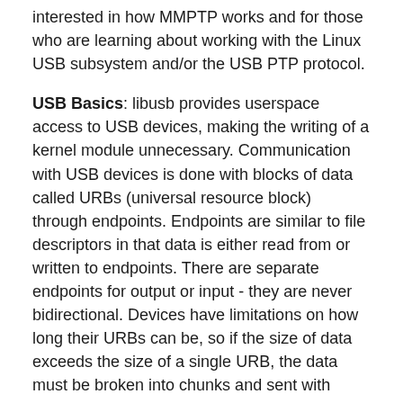interested in how MMPTP works and for those who are learning about working with the Linux USB subsystem and/or the USB PTP protocol.
USB Basics: libusb provides userspace access to USB devices, making the writing of a kernel module unnecessary. Communication with USB devices is done with blocks of data called URBs (universal resource block) through endpoints. Endpoints are similar to file descriptors in that data is either read from or written to endpoints. There are separate endpoints for output or input - they are never bidirectional. Devices have limitations on how long their URBs can be, so if the size of data exceeds the size of a single URB, the data must be broken into chunks and sent with multiple URBs. libusb hids this fragmentation from the userspace program in the functions usb_bulk_read() and usb_bulk_write().
PTP Containers: Messages to and from a PTP